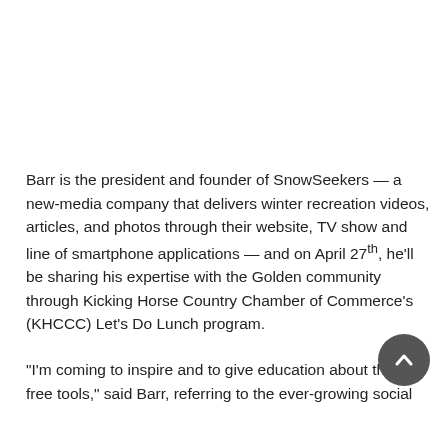Barr is the president and founder of SnowSeekers — a new-media company that delivers winter recreation videos, articles, and photos through their website, TV show and line of smartphone applications — and on April 27th, he'll be sharing his expertise with the Golden community through Kicking Horse Country Chamber of Commerce's (KHCCC) Let's Do Lunch program.
“I'm coming to inspire and to give education about these free tools,” said Barr, referring to the ever-growing social